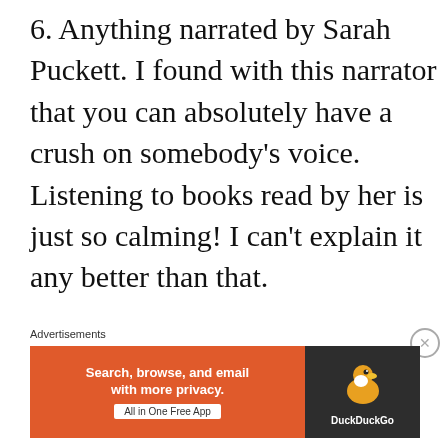6. Anything narrated by Sarah Puckett. I found with this narrator that you can absolutely have a crush on somebody's voice. Listening to books read by her is just so calming! I can't explain it any better than that.
7. Vampire
Advertisements
[Figure (other): DuckDuckGo advertisement banner: orange background on left with text 'Search, browse, and email with more privacy. All in One Free App', dark background on right with DuckDuckGo duck logo and text 'DuckDuckGo']